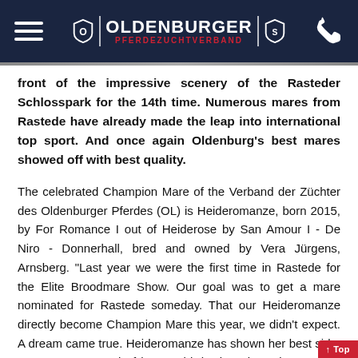OLDENBURGER PFERDEZUCHTVERBAND
front of the impressive scenery of the Rasteder Schlosspark for the 14th time. Numerous mares from Rastede have already made the leap into international top sport. And once again Oldenburg's best mares showed off with best quality.
The celebrated Champion Mare of the Verband der Züchter des Oldenburger Pferdes (OL) is Heideromanze, born 2015, by For Romance I out of Heiderose by San Amour I - De Niro - Donnerhall, bred and owned by Vera Jürgens, Arnsberg. "Last year we were the first time in Rastede for the Elite Broodmare Show. Our goal was to get a mare nominated for Rastede someday. That our Heideromanze directly become Champion Mare this year, we didn't expect. A dream came true. Heideromanze has shown her best side. We are very proud of her", said the breeder pair Vera and Michael Jürgens from Arnsberg in North Rhine-Westphalia very happy. Her